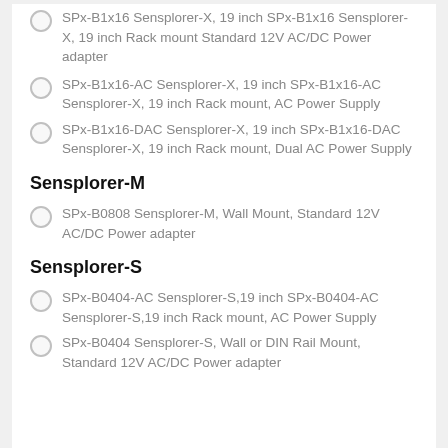SPx-B1x16 Sensplorer-X, 19 inch SPx-B1x16 Sensplorer-X, 19 inch Rack mount Standard 12V AC/DC Power adapter
SPx-B1x16-AC Sensplorer-X, 19 inch SPx-B1x16-AC Sensplorer-X, 19 inch Rack mount, AC Power Supply
SPx-B1x16-DAC Sensplorer-X, 19 inch SPx-B1x16-DAC Sensplorer-X, 19 inch Rack mount, Dual AC Power Supply
Sensplorer-M
SPx-B0808 Sensplorer-M, Wall Mount, Standard 12V AC/DC Power adapter
Sensplorer-S
SPx-B0404-AC Sensplorer-S,19 inch SPx-B0404-AC Sensplorer-S,19 inch Rack mount, AC Power Supply
SPx-B0404 Sensplorer-S, Wall or DIN Rail Mount, Standard 12V AC/DC Power adapter